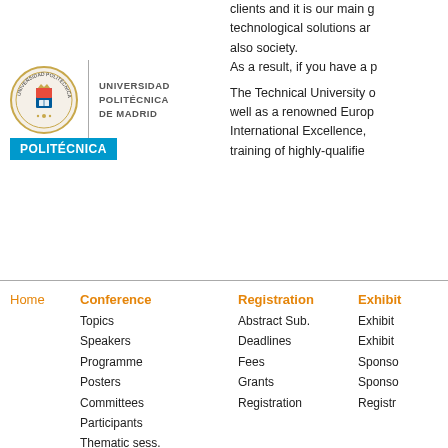[Figure (logo): Universidad Politécnica de Madrid logo with emblem, divider, text, and blue POLITÉCNICA badge]
clients and it is our main goal to provide technological solutions and generate value, also society.
As a result, if you have a p...
The Technical University of... well as a renowned Euro... International Excellence, training of highly-qualifie...
Home
Conference
Topics
Speakers
Programme
Posters
Committees
Participants
Thematic sess.
Registration
Abstract Sub.
Deadlines
Fees
Grants
Registration
Exhibit
Exhibit
Sponso
Sponso
Registr